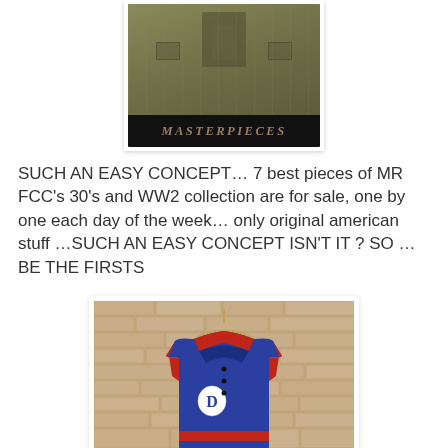[Figure (photo): Photo of a military-style olive/khaki jacket with a dark banner at the bottom reading 'MASTERPIECES' in distressed serif letters. The image has a white card/shadow border.]
SUCH AN EASY CONCEPT… 7 best pieces of MR FCC's 30's and WW2 collection are for sale, one by one each day of the week… only original american stuff …SUCH AN EASY CONCEPT ISN'T IT ? SO … BE THE FIRSTS
[Figure (photo): Photo of a blue and red varsity/letterman jacket hanging on a wooden hanger against a brick wall background. A white letter patch is visible on the chest. The image has a white card/shadow border.]